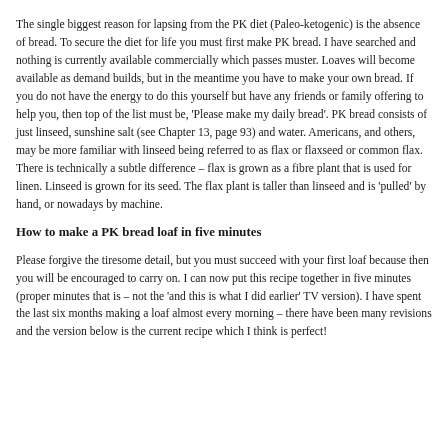The single biggest reason for lapsing from the PK diet (Paleo-ketogenic) is the absence of bread. To secure the diet for life you must first make PK bread. I have searched and nothing is currently available commercially which passes muster. Loaves will become available as demand builds, but in the meantime you have to make your own bread. If you do not have the energy to do this yourself but have any friends or family offering to help you, then top of the list must be, 'Please make my daily bread'. PK bread consists of just linseed, sunshine salt (see Chapter 13, page 93) and water. Americans, and others, may be more familiar with linseed being referred to as flax or flaxseed or common flax. There is technically a subtle difference – flax is grown as a fibre plant that is used for linen. Linseed is grown for its seed. The flax plant is taller than linseed and is 'pulled' by hand, or nowadays by machine.
How to make a PK bread loaf in five minutes
Please forgive the tiresome detail, but you must succeed with your first loaf because then you will be encouraged to carry on. I can now put this recipe together in five minutes (proper minutes that is – not the 'and this is what I did earlier' TV version). I have spent the last six months making a loaf almost every morning – there have been many revisions and the version below is the current recipe which I think is perfect!